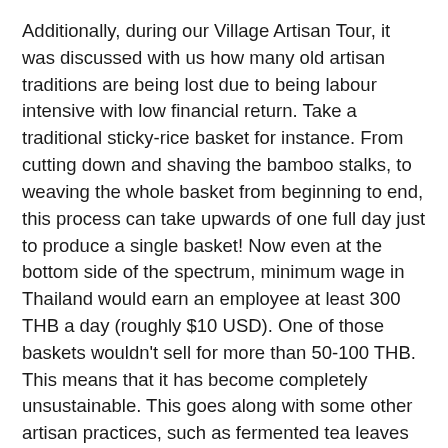Additionally, during our Village Artisan Tour, it was discussed with us how many old artisan traditions are being lost due to being labour intensive with low financial return. Take a traditional sticky-rice basket for instance. From cutting down and shaving the bamboo stalks, to weaving the whole basket from beginning to end, this process can take upwards of one full day just to produce a single basket! Now even at the bottom side of the spectrum, minimum wage in Thailand would earn an employee at least 300 THB a day (roughly $10 USD). One of those baskets wouldn't sell for more than 50-100 THB. This means that it has become completely unsustainable. This goes along with some other artisan practices, such as fermented tea leaves (a local caffeine booster) and tea bag deodorizers – great to put in your shoes to pull out the smell! Flight of the Gibbon Chiang Mai set up projects with willing workers to pay them a decent wage simply to continue doing what they know and love, regardless of if people buy their products or not. This is